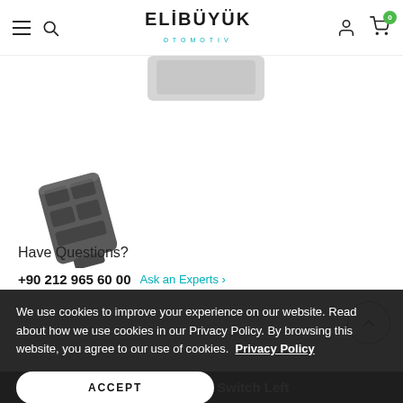ELIBÜYÜK OTOMOTIV
[Figure (photo): Product image area showing top portion of a window lifter switch, partially cropped at top]
[Figure (photo): Small thumbnail image of Honda Civic CRV Window Lifter Switch Left - dark grey automotive switch unit]
Have Questions?
+90 212 965 60 00   Ask an Experts →
We use cookies to improve your experience on our website. Read about how we use cookies in our Privacy Policy. By browsing this website, you agree to our use of cookies.  Privacy Policy
ACCEPT
Honda Civic Crv Window Lifter Switch Left